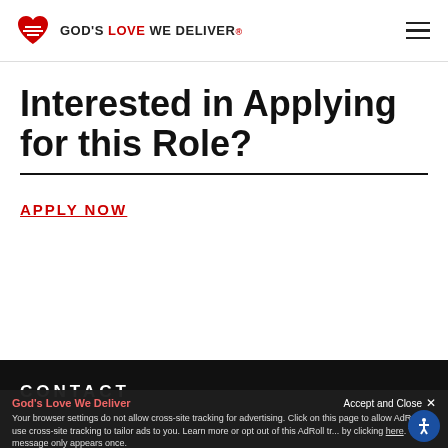GOD'S LOVE WE DELIVER
Interested in Applying for this Role?
APPLY NOW
CONTACT
God's Love We Deliver  Accept and Close ×  Your browser settings do not allow cross-site tracking for advertising. Click on this page to allow AdRoll to use cross-site tracking to tailor ads to you. Learn more or opt out of this AdRoll tracking by clicking here. This message only appears once.